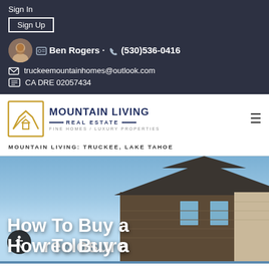Sign In
Sign Up
· Ben Rogers · (530)536-0416
truckeemountainhomes@outlook.com
CA DRE 02057434
[Figure (logo): Mountain Living Real Estate logo with gold house icon and navy text]
MOUNTAIN LIVING: TRUCKEE, LAKE TAHOE
[Figure (photo): Photo of a house with mountain-style architecture against a blue sky, with text overlay reading 'How To Buy a Foreclosure']
How To Buy a Foreclosure